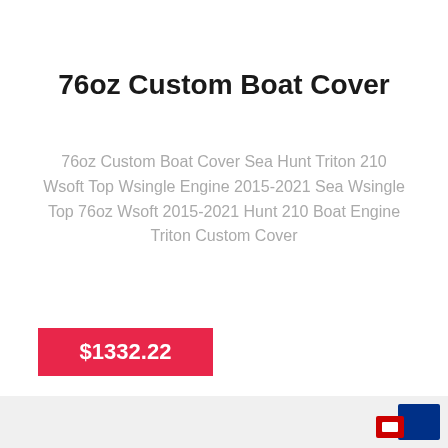76oz Custom Boat Cover
76oz Custom Boat Cover Sea Hunt Triton 210 Wsoft Top Wsingle Engine 2015-2021 Sea Wsingle Top 76oz Wsoft 2015-2021 Hunt 210 Boat Engine Triton Custom Cover
$1332.22